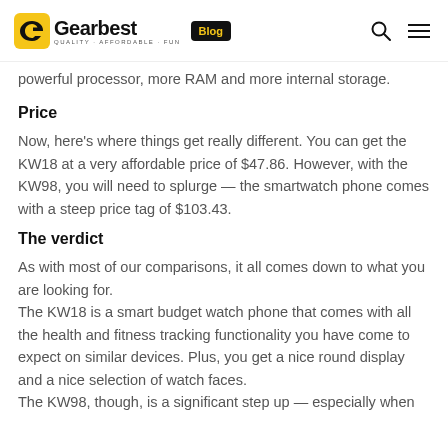Gearbest QUALITY · AFFORDABLE · FUN Blog
powerful processor, more RAM and more internal storage.
Price
Now, here's where things get really different. You can get the KW18 at a very affordable price of $47.86. However, with the KW98, you will need to splurge — the smartwatch phone comes with a steep price tag of $103.43.
The verdict
As with most of our comparisons, it all comes down to what you are looking for.
The KW18 is a smart budget watch phone that comes with all the health and fitness tracking functionality you have come to expect on similar devices. Plus, you get a nice round display and a nice selection of watch faces.
The KW98, though, is a significant step up — especially when